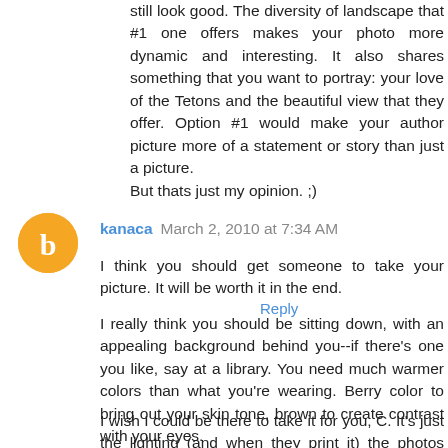still look good. The diversity of landscape that #1 one offers makes your photo more dynamic and interesting. It also shares something that you want to portray: your love of the Tetons and the beautiful view that they offer. Option #1 would make your author picture more of a statement or story than just a picture.
But thats just my opinion. ;)
Reply
kanaca  March 2, 2010 at 7:34 AM
I think you should get someone to take your picture. It will be worth it in the end.
I really think you should be sitting down, with an appealing background behind you--if there's one you like, say at a library. You need much warmer colors than what you're wearing. Berry color to bring out your skin tone, brown to create contrast with your eyes.
I wish I could be there to take it for you, C. It's just the lighting (and when they print it) the photos won't stand up.